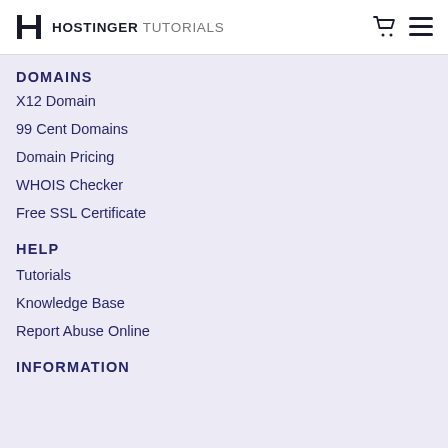HOSTINGER TUTORIALS
DOMAINS
X12 Domain
99 Cent Domains
Domain Pricing
WHOIS Checker
Free SSL Certificate
HELP
Tutorials
Knowledge Base
Report Abuse Online
INFORMATION